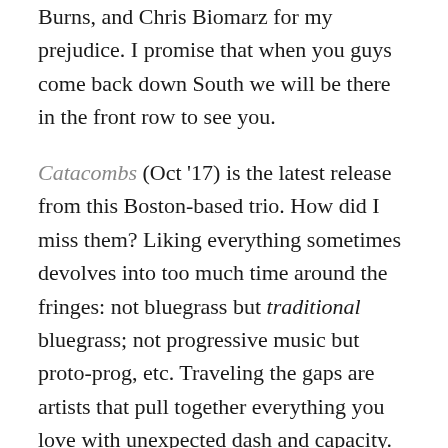Burns, and Chris Biomarz for my prejudice. I promise that when you guys come back down South we will be there in the front row to see you.
Catacombs (Oct '17) is the latest release from this Boston-based trio. How did I miss them? Liking everything sometimes devolves into too much time around the fringes: not bluegrass but traditional bluegrass; not progressive music but proto-prog, etc. Traveling the gaps are artists that pull together everything you love with unexpected dash and capacity.
Honeysuckle play traditional folk instruments (guitar, banjo, mandolin) with a jazz rock intensity and chiseled focus. The wordless vocals of “Constellations” might put one in mind of Fleet Foxes; but the musicianship is